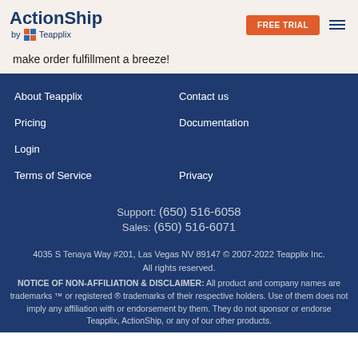ActionShip by Teapplix | FREE TRIAL
make order fulfillment a breeze!
About Teapplix
Contact us
Pricing
Documentation
Login
Terms of Service
Privacy
Support: (650) 516-6058
Sales: (650) 516-6071
4035 S Tenaya Way #201, Las Vegas NV 89147 © 2007-2022 Teapplix Inc. All rights reserved. NOTICE OF NON-AFFILIATION & DISCLAIMER: All product and company names are trademarks ™ or registered ® trademarks of their respective holders. Use of them does not imply any affiliation with or endorsement by them. They do not sponsor or endorse Teapplix, ActionShip, or any of our other products.